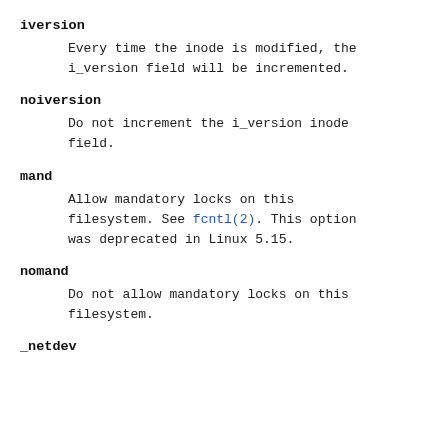iversion
Every time the inode is modified, the i_version field will be incremented.
noiversion
Do not increment the i_version inode field.
mand
Allow mandatory locks on this filesystem. See fcntl(2). This option was deprecated in Linux 5.15.
nomand
Do not allow mandatory locks on this filesystem.
_netdev